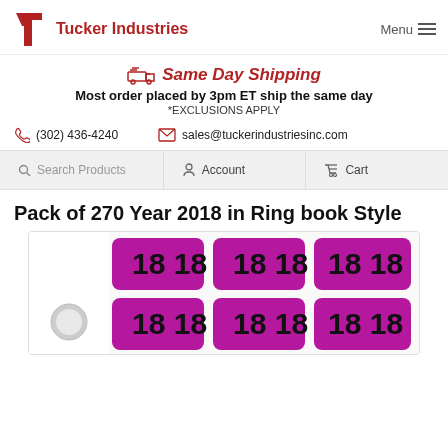Tucker Industries | Menu
Same Day Shipping
Most order placed by 3pm ET ship the same day
*EXCLUSIONS APPLY
(302) 436-4240   sales@tuckerindustriesinc.com
Search Products   Account   Cart
Pack of 270 Year 2018 in Ring book Style
[Figure (photo): Product image showing ring book style bingo year stickers showing '18 18' repeated on purple/magenta rounded rectangle labels in a grid pattern]